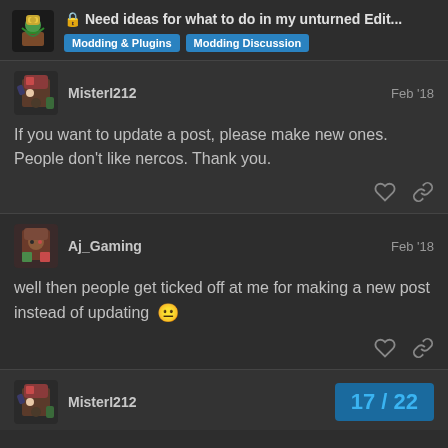Need ideas for what to do in my unturned Edit... | Modding & Plugins | Modding Discussion
MisterI212 — Feb '18
If you want to update a post, please make new ones. People don't like nercos. Thank you.
Aj_Gaming — Feb '18
well then people get ticked off at me for making a new post instead of updating 😐
MisterI212 — 17 / 22